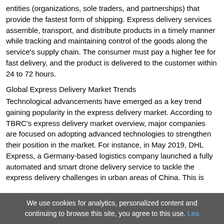entities (organizations, sole traders, and partnerships) that provide the fastest form of shipping. Express delivery services assemble, transport, and distribute products in a timely manner while tracking and maintaining control of the goods along the service's supply chain. The consumer must pay a higher fee for fast delivery, and the product is delivered to the customer within 24 to 72 hours.
Global Express Delivery Market Trends
Technological advancements have emerged as a key trend gaining popularity in the express delivery market. According to TBRC's express delivery market overview, major companies are focused on adopting advanced technologies to strengthen their position in the market. For instance, in May 2019, DHL Express, a Germany-based logistics company launched a fully automated and smart drone delivery service to tackle the express delivery challenges in urban areas of China. This is designed with smart and secure flight control modules that will help in vertical take-off and landing, visual identification, high-accuracy GPS, fully automated flight, smart flight path planning, and real-time scheduling.
Global Express Delivery Market Segments
The global express delivery market is segmented:
By Service: Online, Offline
We use cookies for analytics, personalized content and continuing to browse this site, you agree to this use. Le...